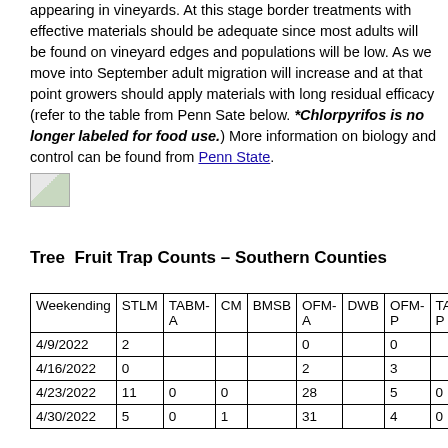appearing in vineyards. At this stage border treatments with effective materials should be adequate since most adults will be found on vineyard edges and populations will be low. As we move into September adult migration will increase and at that point growers should apply materials with long residual efficacy (refer to the table from Penn Sate below. *Chlorpyrifos is no longer labeled for food use.) More information on biology and control can be found from Penn State.
[Figure (photo): Small broken image placeholder icon]
Tree  Fruit Trap Counts – Southern Counties
| Weekending | STLM | TABM-A | CM | BMSB | OFM-A | DWB | OFM-P | TABM-P |
| --- | --- | --- | --- | --- | --- | --- | --- | --- |
| 4/9/2022 | 2 |  |  |  | 0 |  | 0 |  |
| 4/16/2022 | 0 |  |  |  | 2 |  | 3 |  |
| 4/23/2022 | 11 | 0 | 0 |  | 28 |  | 5 | 0 |
| 4/30/2022 | 5 | 0 | 1 |  | 31 |  | 4 | 0 |